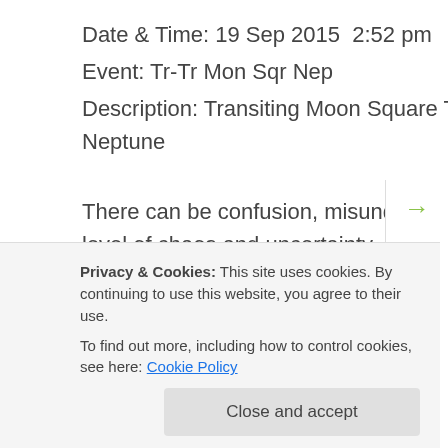Date & Time: 19 Sep 2015  2:52 pm
Event: Tr-Tr Mon Sqr Nep
Description: Transiting Moon Square Transiting Neptune
There can be confusion, misunderstanding, or some level of chaos and uncertainty. Avoid money transactions or new business initiatives – it can be difficult to think clearly. There may be deception or self-deception to deal with. We might have an emotional urge to escape. Feeling out of sorts and don't know why? Relax and listen to some...
Privacy & Cookies: This site uses cookies. By continuing to use this website, you agree to their use.
To find out more, including how to control cookies, see here: Cookie Policy
Date & Time: 19 Sep 2015  3:10 pm